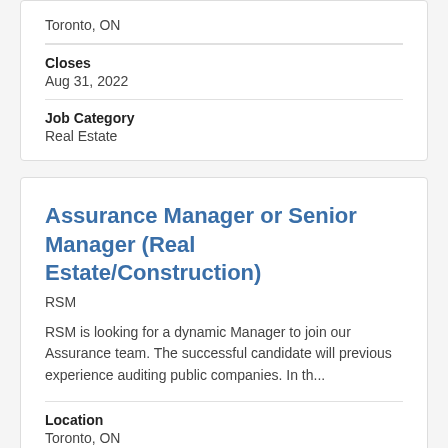Toronto, ON
Closes
Aug 31, 2022
Job Category
Real Estate
Assurance Manager or Senior Manager (Real Estate/Construction)
RSM
RSM is looking for a dynamic Manager to join our Assurance team. The successful candidate will previous experience auditing public companies. In th...
Location
Toronto, ON
Closes
Aug 31, 2022
Job Cate...